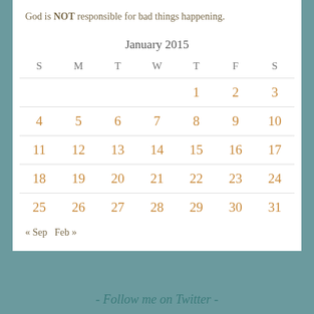God is NOT responsible for bad things happening.
| S | M | T | W | T | F | S |
| --- | --- | --- | --- | --- | --- | --- |
|  |  |  |  | 1 | 2 | 3 |
| 4 | 5 | 6 | 7 | 8 | 9 | 10 |
| 11 | 12 | 13 | 14 | 15 | 16 | 17 |
| 18 | 19 | 20 | 21 | 22 | 23 | 24 |
| 25 | 26 | 27 | 28 | 29 | 30 | 31 |
« Sep   Feb »
- Follow me on Twitter -